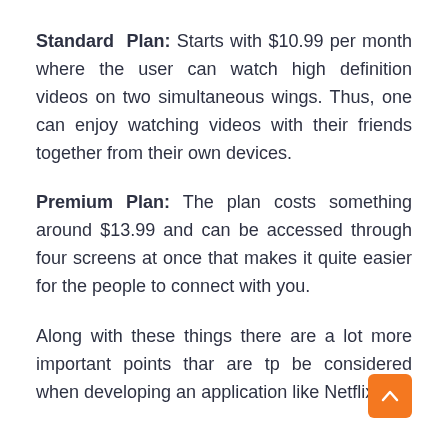Standard Plan: Starts with $10.99 per month where the user can watch high definition videos on two simultaneous wings. Thus, one can enjoy watching videos with their friends together from their own devices.
Premium Plan: The plan costs something around $13.99 and can be accessed through four screens at once that makes it quite easier for the people to connect with you.
Along with these things there are a lot more important points thar are tp be considered when developing an application like Netflix.